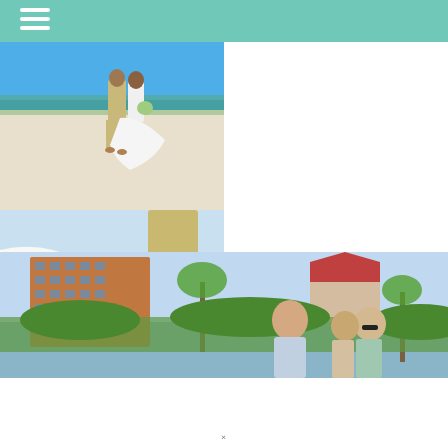[Figure (photo): Wedding couple walking on beach, seen from behind. Bride in white gown carrying bouquet, groom in khaki. Blue sky and water in background.]
[Figure (photo): Close-up of bride and groom walking on white sand beach. Bride's white dress billowing. Sandals and casual shoes visible.]
[Figure (photo): Group of people smiling outdoors. A man in foreground and a couple behind him, palm trees, hotel building, and a red-roofed structure in background.]